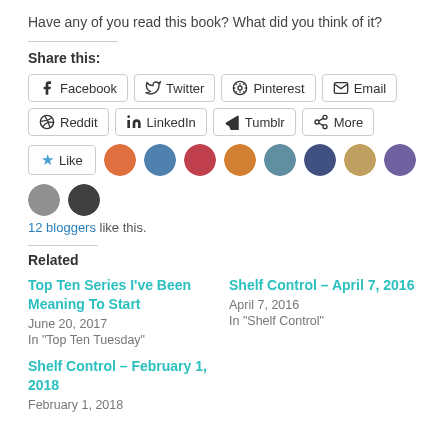Have any of you read this book?  What did you think of it?
Share this:
Facebook  Twitter  Pinterest  Email  Reddit  LinkedIn  Tumblr  More
Like  12 bloggers like this.
Related
Top Ten Series I've Been Meaning To Start
June 20, 2017
In "Top Ten Tuesday"
Shelf Control – April 7, 2016
April 7, 2016
In "Shelf Control"
Shelf Control – February 1, 2018
February 1, 2018